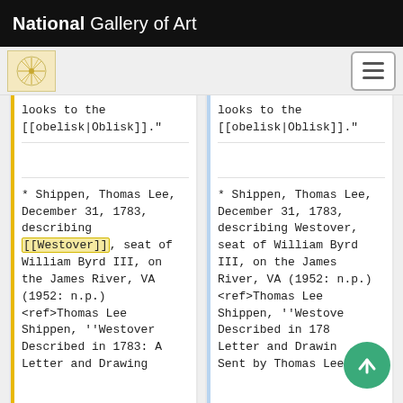National Gallery of Art
looks to the [[obelisk|Oblisk]]."
looks to the [[obelisk|Oblisk]]."
* Shippen, Thomas Lee, December 31, 1783, describing [[Westover]], seat of William Byrd III, on the James River, VA (1952: n.p.) <ref>Thomas Lee Shippen, ''Westover Described in 1783: A Letter and Drawing
* Shippen, Thomas Lee, December 31, 1783, describing Westover, seat of William Byrd III, on the James River, VA (1952: n.p.) <ref>Thomas Lee Shippen, ''Westover Described in 1783: Letter and Drawing Sent by Thomas Lee